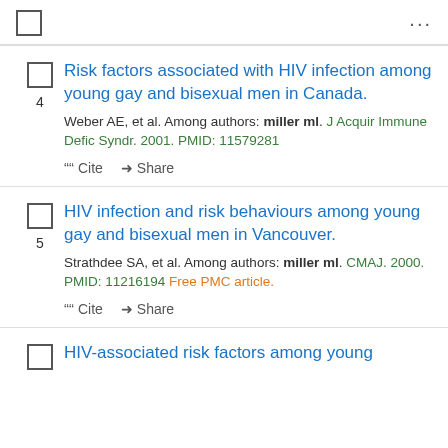4. Risk factors associated with HIV infection among young gay and bisexual men in Canada. Weber AE, et al. Among authors: miller ml. J Acquir Immune Defic Syndr. 2001. PMID: 11579281
5. HIV infection and risk behaviours among young gay and bisexual men in Vancouver. Strathdee SA, et al. Among authors: miller ml. CMAJ. 2000. PMID: 11216194 Free PMC article.
HIV-associated risk factors among young